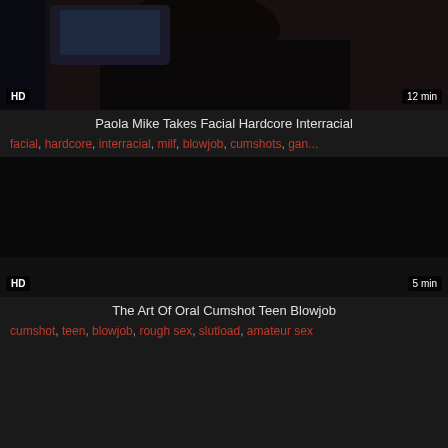[Figure (photo): Video thumbnail showing people, dark background with HD badge bottom-left and 12 min badge bottom-right]
Paola Mike Takes Facial Hardcore Interracial
facial, hardcore, interracial, milf, blowjob, cumshots, gan...
[Figure (photo): Dark/black video thumbnail with HD badge bottom-left and 5 min badge bottom-right]
The Art Of Oral Cumshot Teen Blowjob
cumshot, teen, blowjob, rough sex, slutload, amateur sex